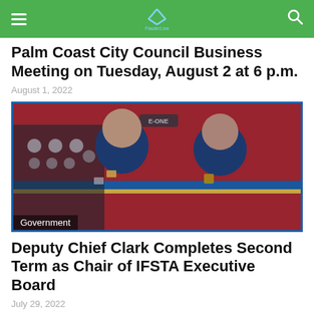Navigation bar with hamburger menu, site logo, and search icon
Palm Coast City Council Business Meeting on Tuesday, August 2 at 6 p.m.
August 1, 2022
[Figure (photo): Two firefighters in dark blue uniforms standing in front of a red fire truck with E-One markings. Both men are smiling at the camera. The image has a blue border. A 'Government' category tag overlays the bottom-left corner.]
Government
Deputy Chief Clark Completes Second Term as Chair of IFSTA Executive Board
July 29, 2022